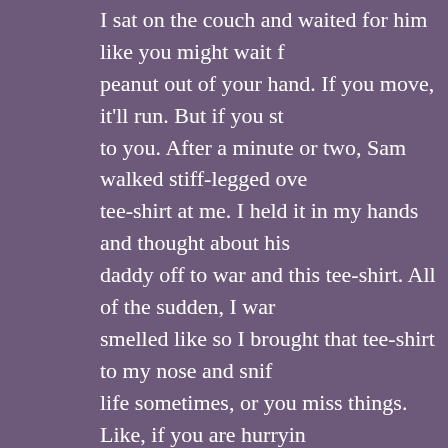I sat on the couch and waited for him like you might wait for a squirrel to eat a peanut out of your hand. If you move, it'll run. But if you stay still, it'll come right to you. After a minute or two, Sam walked stiff-legged over to me and pushed his tee-shirt at me. I held it in my hands and thought about his mama sending his daddy off to war and this tee-shirt. All of the sudden, I wanted to know what it smelled like so I brought that tee-shirt to my nose and sniffed. You rush through life sometimes, or you miss things. Like, if you are hurrying, you miss how a cat can chase a blue jay right out of your yard or how, when the sun is shining, drops of rain dangling from the tips of leaves look like diamond faucets in God's own hands. Or you miss a smell you really need to find. Popular wisdom says you need to get someplace, but when you are alone most of the time, you go where you want. I breathed that tee-shirt in and out, and I smiled.

I said, "Sam, I know this smell and, after Danny is finished with it, I promise to make it smell like your daddy took it off just this morning."

Sam's eyes got wide and he swallowed hard a couple of times trying to decide to believe me. He whispered, "D'you promise?" I nodded.